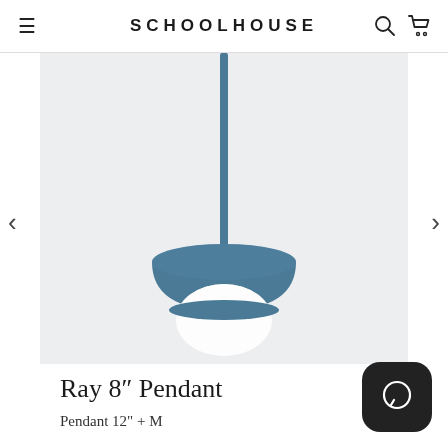SCHOOLHOUSE
[Figure (photo): A blue pendant light (Ray 8" Pendant) with a round mushroom-cap shaped shade in matte blue/teal color, white glass globe at bottom, hanging from a matching blue cord/wire against a light gray background.]
Ray 8" Pendant